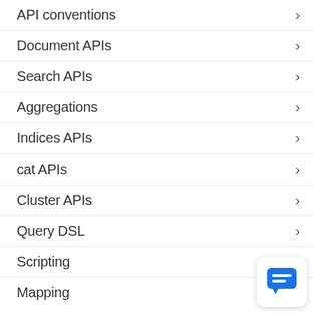API conventions
Document APIs
Search APIs
Aggregations
Indices APIs
cat APIs
Cluster APIs
Query DSL
Scripting
Mapping
[Figure (illustration): Blue chat bubble icon in white rounded square widget in bottom-right corner]